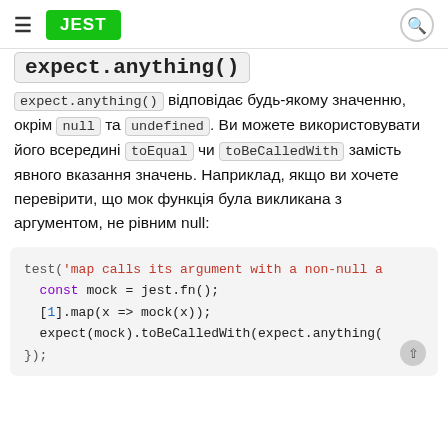≡ JEST [search icon]
expect.anything()
expect.anything() відповідає будь-якому значенню, окрім null та undefined. Ви можете використовувати його всередині toEqual чи toBeCalledWith замість явного вказання значень. Наприклад, якщо ви хочете перевірити, що мок функція була викликана з аргументом, не рівним null:
[Figure (screenshot): Code block showing: test('map calls its argument with a non-null a...
  const mock = jest.fn();
  [1].map(x => mock(x));
  expect(mock).toBeCalledWith(expect.anything(
});]